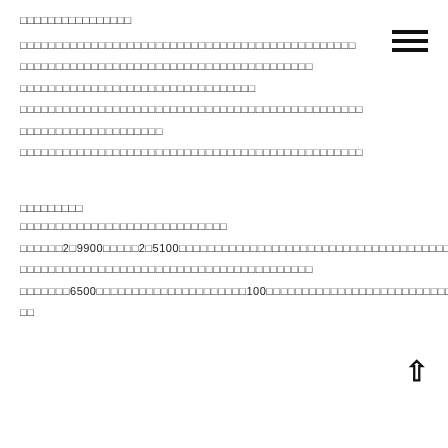□□□□□□□□□□□□□□□□
□□□□□□□□□□□□□□□□□□□□□□□□□□□□□□□□□□□□□□□□□□□□□□□
□□□□□□□□□□□□□□□□□□□□□□□□□□□□□□□□□□□□□□□□□
□□□□□□□□□□□□□□□□□□□□□□□□□□□□□□□□□
□□□□□□□□□□□□□□□□□□□□□□□□□□□□□□□□□□□□□□□□□□□□□□□□
□□□□□□□□□□□□□□□□□□□□
□□□□□□□□□□□□□□□□□□□□□□□□□□□□□□□□□□□□□□□□□□□□□□□□
□□□□□□□□□
□□□□□□□□□□□□□□□□□□□□□□□□□□□□□
□□□□□□2□9900□□□□□2□5100□□□□□□□□□□□□□□□□□□□□□□□□□□□□□□□□□□□□□□□□□□□□□□□□
□□□□□□□□□□□□□□□□□□□□□□□□□□□□□□□□□□□□□□□□□
□□□□□□□6500□□□□□□□□□□□□□□□□□□□□□100□□□□□□□□□□□□□□□□□□□□□□□□□□□□
□□